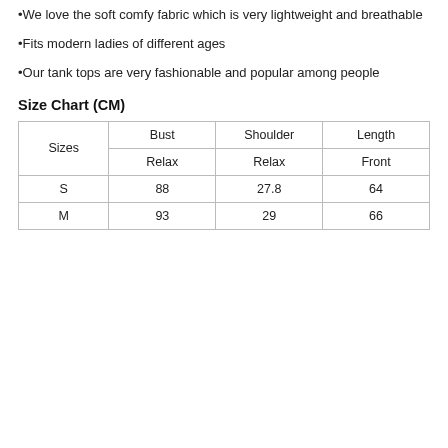•We love the soft comfy fabric which is very lightweight and breathable
•Fits modern ladies of different ages
•Our tank tops are very fashionable and popular among people
Size Chart (CM)
| Sizes | Bust
Relax | Shoulder
Relax | Length
Front |
| --- | --- | --- | --- |
| S | 88 | 27.8 | 64 |
| M | 93 | 29 | 66 |